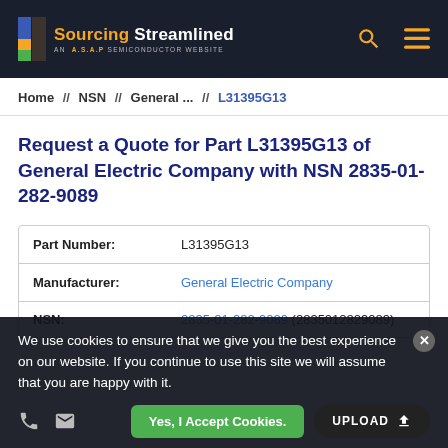Sourcing Streamlined — AN A.S.A.P SEMICONDUCTOR WEBSITE
Home // NSN // General ... // L31395G13
Request a Quote for Part L31395G13 of General Electric Company with NSN 2835-01-282-9089
| Field | Value |
| --- | --- |
| Part Number: | L31395G13 |
| Manufacturer: | General Electric Company |
| NSN: | 2835-01-282-9089 (2835012829089) |
We use cookies to ensure that we give you the best experience on our website. If you continue to use this site we will assume that you are happy with it.